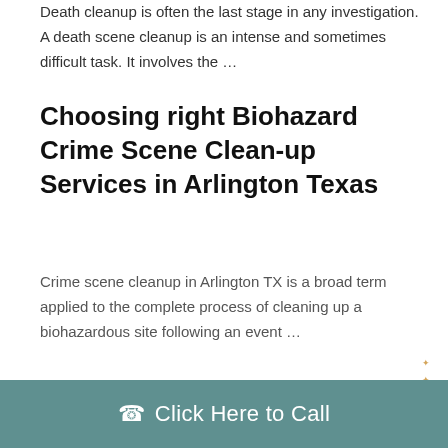Death cleanup is often the last stage in any investigation. A death scene cleanup is an intense and sometimes difficult task. It involves the …
Choosing right Biohazard Crime Scene Clean-up Services in Arlington Texas
Crime scene cleanup in Arlington TX is a broad term applied to the complete process of cleaning up a biohazardous site following an event …
Does Insurance Cover Biohazard
Click Here to Call